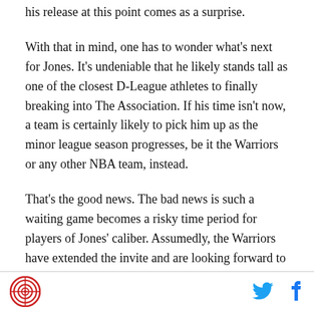his release at this point comes as a surprise.
With that in mind, one has to wonder what's next for Jones. It's undeniable that he likely stands tall as one of the closest D-League athletes to finally breaking into The Association. If his time isn't now, a team is certainly likely to pick him up as the minor league season progresses, be it the Warriors or any other NBA team, instead.
That's the good news. The bad news is such a waiting game becomes a risky time period for players of Jones' caliber. Assumedly, the Warriors have extended the invite and are looking forward to having back in Santa Cruz for the upcoming season. But after two rather
[Figure (logo): Circular logo with red border and basketball/target design in center]